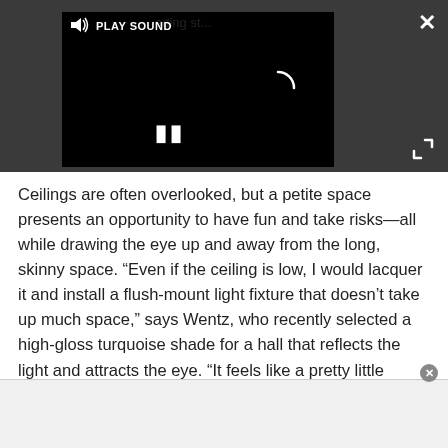[Figure (screenshot): A dark video player interface with a black video frame, a 'PLAY SOUND' button bar at top left of the player, a loading spinner in the center, a pause (two vertical bars) icon at lower left, a close X at top right corner of the dark area, and a fullscreen icon at the bottom right.]
Ceilings are often overlooked, but a petite space presents an opportunity to have fun and take risks—all while drawing the eye up and away from the long, skinny space. “Even if the ceiling is low, I would lacquer it and install a flush-mount light fixture that doesn’t take up much space,” says Wentz, who recently selected a high-gloss turquoise shade for a hall that reflects the light and attracts the eye. “It feels like a pretty little gem.”